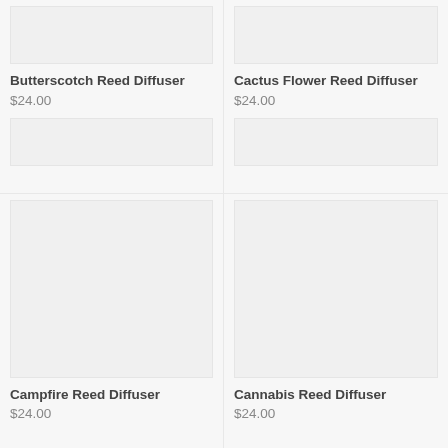[Figure (photo): Product image placeholder for Butterscotch Reed Diffuser]
Butterscotch Reed Diffuser
$24.00
[Figure (photo): Product image placeholder for Cactus Flower Reed Diffuser]
Cactus Flower Reed Diffuser
$24.00
[Figure (photo): Product image placeholder for Campfire Reed Diffuser]
Campfire Reed Diffuser
$24.00
[Figure (photo): Product image placeholder for Cannabis Reed Diffuser]
Cannabis Reed Diffuser
$24.00